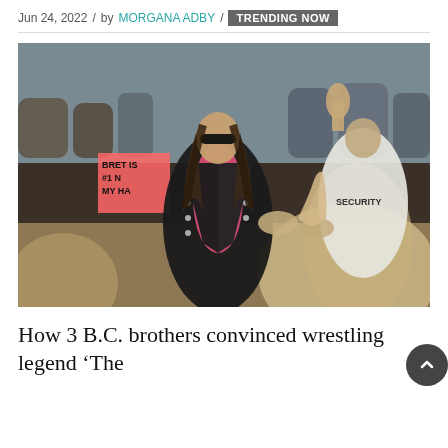Jun 24, 2022 / by MORGANA ADBY / TRENDING NOW
[Figure (photo): A wrestler in a black leather jacket and pink singlet with sunglasses walks through a crowd of fans toward the ring. A security guard in a white jacket is visible on the right. Fans hold signs including one reading 'BRET IS #1'. A hand reaches up in the foreground.]
How 3 B.C. brothers convinced wrestling legend ‘The